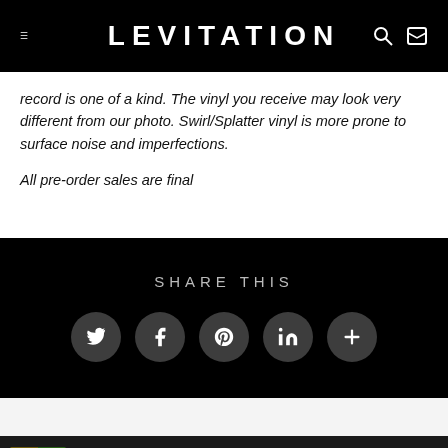LEVITATION
record is one of a kind. The vinyl you receive may look very different from our photo. Swirl/Splatter vinyl is more prone to surface noise and imperfections.
All pre-order sales are final
SHARE THIS
[Figure (infographic): Social share icons: Twitter, Facebook, Pinterest, LinkedIn, More]
[Figure (photo): Product thumbnail image - colorful album cover]
$45.98
− 1 +
SOLD OUT